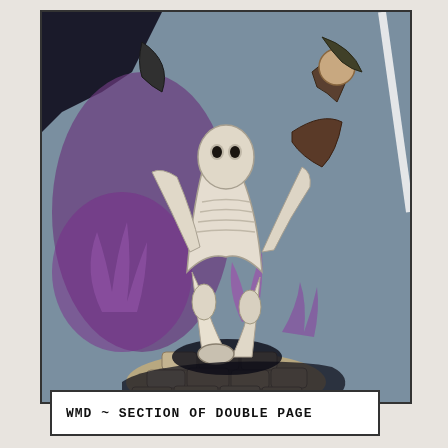[Figure (illustration): Comic book illustration showing a skeletal or zombie-like white figure running forward on a cobblestone path toward the viewer, carrying another figure. Purple energy/flame and dark shadows surround the central figure. A diagonal white line appears in the upper right. The scene is rendered in detailed comic art style with muted blues, purples, and tans.]
WMD ~ SECTION OF DOUBLE PAGE